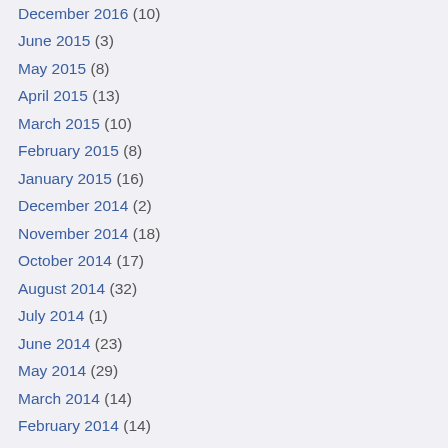December 2016 (10)
June 2015 (3)
May 2015 (8)
April 2015 (13)
March 2015 (10)
February 2015 (8)
January 2015 (16)
December 2014 (2)
November 2014 (18)
October 2014 (17)
August 2014 (32)
July 2014 (1)
June 2014 (23)
May 2014 (29)
March 2014 (14)
February 2014 (14)
January 2014 (16)
December 2013 (11)
November 2013 (23)
October 2013 (4)